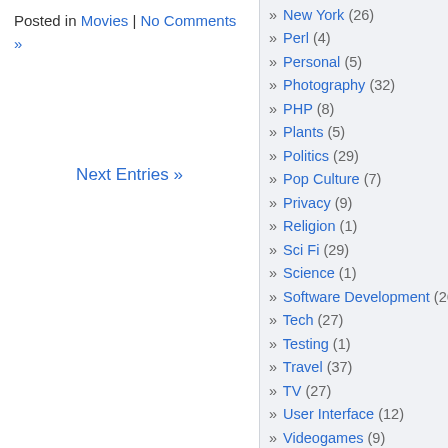Posted in Movies | No Comments »
Next Entries »
» New York (26)
» Perl (4)
» Personal (5)
» Photography (32)
» PHP (8)
» Plants (5)
» Politics (29)
» Pop Culture (7)
» Privacy (9)
» Religion (1)
» Sci Fi (29)
» Science (1)
» Software Development (26)
» Tech (27)
» Testing (1)
» Travel (37)
» TV (27)
» User Interface (12)
» Videogames (9)
» Web Development (50)